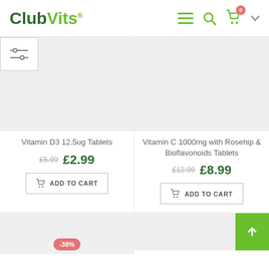ClubVits®
[Figure (screenshot): Product thumbnail placeholder grey rectangle for Vitamin D3 12.5ug Tablets]
Vitamin D3 12.5ug Tablets
£5.99  £2.99
ADD TO CART
[Figure (screenshot): Product thumbnail placeholder grey rectangle for Vitamin C 1000mg with Rosehip & Bioflavonoids Tablets]
Vitamin C 1000mg with Rosehip & Bioflavonoids Tablets
£12.99  £8.99
ADD TO CART
[Figure (screenshot): Partial product card with -38% badge]
[Figure (screenshot): Partial product card placeholder]